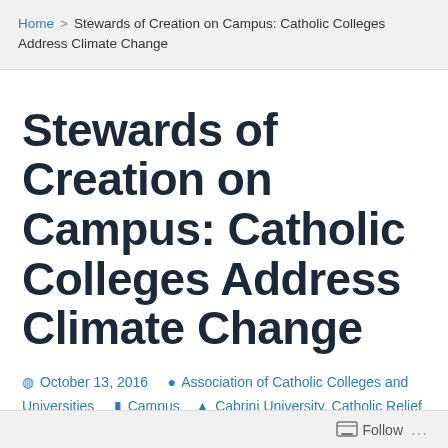Home > Stewards of Creation on Campus: Catholic Colleges Address Climate Change
Stewards of Creation on Campus: Catholic Colleges Address Climate Change
October 13, 2016  Association of Catholic Colleges and Universities  Campus  Cabrini University, Catholic Relief Services, Climate Change, environmental justice, Global Solidarity Grant, interdisciplinary, Loyola University Chicago, Pope Francis, service learning, study abroad, Sustainability, University of St. Thomas
Follow